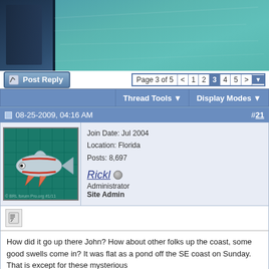[Figure (photo): Aerial/overhead photo of ocean water (teal-green) with a dark boat/ship rail visible in the upper-left corner]
Post Reply
Page 3 of 5  <  1  2  3  4  5  >
Thread Tools ▼   Display Modes ▼
08-25-2009, 04:16 AM   #21
[Figure (photo): User avatar image showing a stylized fish/shark illustration in teal water with red and orange accents]
Join Date: Jul 2004
Location: Florida
Posts: 8,697
Rickl
Administrator
Site Admin
How did it go up there John? How about other folks up the coast, some good swells come in? It was flat as a pond off the SE coast on Sunday. That is except for these mysterious